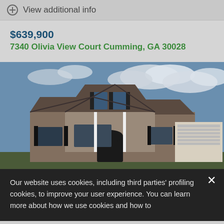View additional info
$639,900
7340 Olivia View Court Cumming, GA 30028
[Figure (photo): Two-story stone and brick house exterior with multiple gabled rooflines, arched front entry, attached garage, and blue sky with clouds in background.]
Our website uses cookies, including third parties' profiling cookies, to improve your user experience. You can learn more about how we use cookies and how to